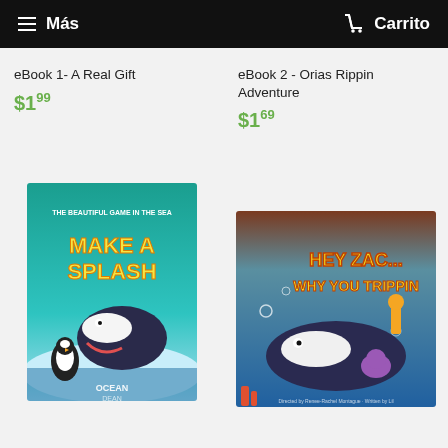≡ Más   🛒 Carrito
eBook 1- A Real Gift
$1.99
eBook 2 - Orias Rippin Adventure
$1.69
[Figure (illustration): Children's book cover: 'Make a Splash - The Beautiful Game in the Sea' showing a whale and penguin in an icy ocean scene, by Ocean Dean]
[Figure (illustration): Children's book cover: 'Hey Zac... Why You Trippin' showing a whale and sea creatures underwater with a diver]